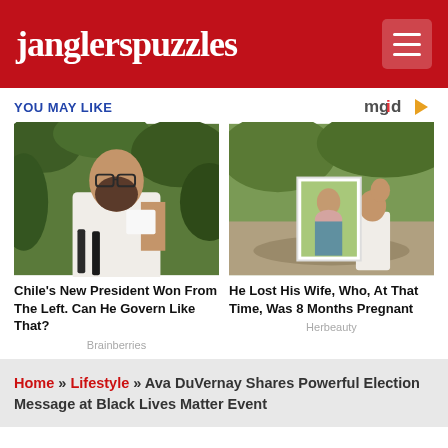janglerspuzzles
YOU MAY LIKE
[Figure (photo): Man with beard and glasses wearing white shirt holding microphone stand, outdoor greenery background]
Chile's New President Won From The Left. Can He Govern Like That?
Brainberries
[Figure (photo): Man crouching outdoor holding large photo portrait of pregnant woman, child nearby, nature background]
He Lost His Wife, Who, At That Time, Was 8 Months Pregnant
Herbeauty
Home » Lifestyle » Ava DuVernay Shares Powerful Election Message at Black Lives Matter Event